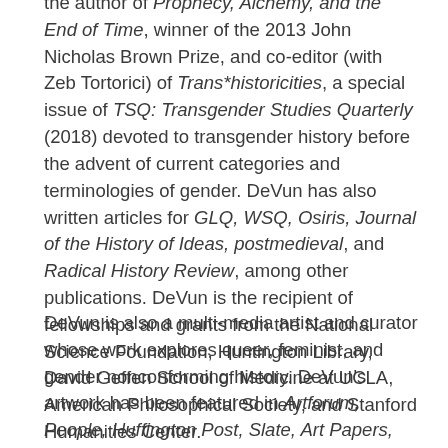the author of Prophecy, Alchemy, and the End of Time, winner of the 2013 John Nicholas Brown Prize, and co-editor (with Zeb Tortorici) of Trans*historicities, a special issue of TSQ: Transgender Studies Quarterly (2018) devoted to transgender history before the advent of current categories and terminologies of gender. DeVun has also written articles for GLQ, WSQ, Osiris, Journal of the History of Ideas, postmedieval, and Radical History Review, among other publications. DeVun is the recipient of fellowships and grants from the National Science Foundation, Huntington Library, David Geffen School of Medicine at UCLA, American Philosophical Society, and Stanford Humanities Center.
DeVun is also a multi-media artist and curator whose work explores queer, feminist, and gender nonconforming history. DeVun's artwork has been featured in Artforum, People, Huffington Post, Slate, Art Papers, Hyperallergic, and Modern Painters, and at venues including the ONE Archives Gallery and Museum at the University of Southern California, Houston Center for